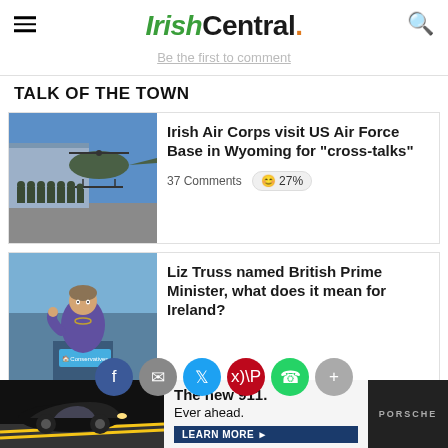IrishCentral.
Be the first to comment
TALK OF THE TOWN
[Figure (photo): Group of military personnel posing in front of a helicopter on a tarmac]
Irish Air Corps visit US Air Force Base in Wyoming for "cross-talks"
37 Comments 😄 27%
[Figure (photo): Liz Truss speaking at a Conservatives podium]
Liz Truss named British Prime Minister, what does it mean for Ireland?
1 Comment 44%
[Figure (photo): Advertisement: Porsche 911 - The new 911. Ever ahead. Learn More.]